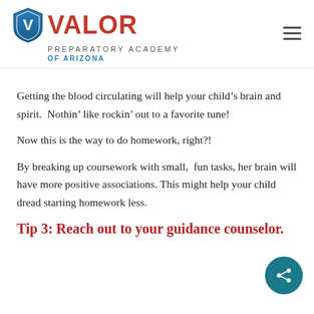Valor Preparatory Academy of Arizona
Getting the blood circulating will help your child’s brain and spirit.  Nothin’ like rockin’ out to a favorite tune!
Now this is the way to do homework, right?!
By breaking up coursework with small, fun tasks, her brain will have more positive associations. This might help your child dread starting homework less.
Tip 3: Reach out to your guidance counselor.